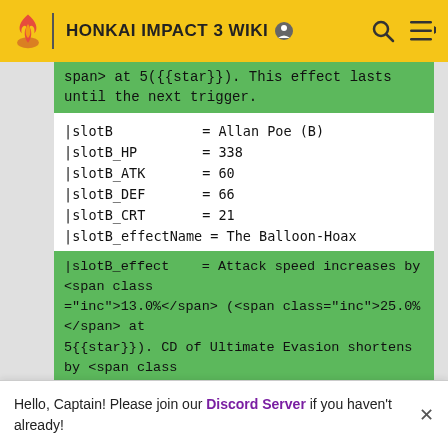HONKAI IMPACT 3 WIKI
span> at 5({{star}}). This effect lasts until the next trigger.
|slotB           = Allan Poe (B)
|slotB_HP       = 338
|slotB_ATK      = 60
|slotB_DEF      = 66
|slotB_CRT      = 21
|slotB_effectName = The Balloon-Hoax
|slotB_effect    = Attack speed increases by <span class ="inc">13.0%</span> (<span class="inc">25.0%</span> at 5{{star}}). CD of Ultimate Evasion shortens by <span class ="inc">9.0%</span> (<span class="inc">15.0%</span> at 5 {{star}}).
|setName         = Voice of Darkness
Hello, Captain! Please join our Discord Server if you haven't already!